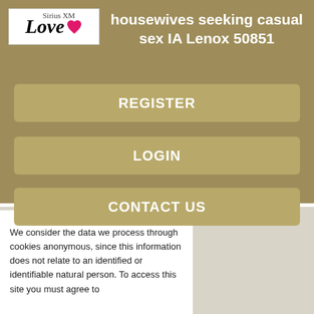Housewives seeking casual sex IA Lenox 50851
REGISTER
LOGIN
CONTACT US
We consider the data we process through cookies anonymous, since this information does not relate to an identified or identifiable natural person. To access this site you must agree to